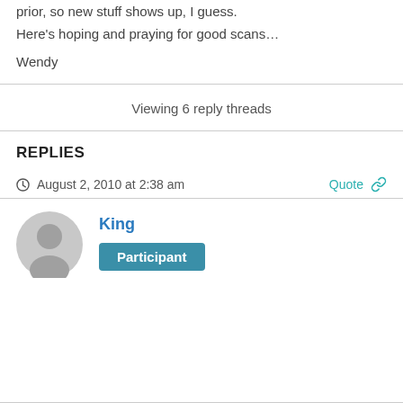prior, so new stuff shows up, I guess.
Here's hoping and praying for good scans…
Wendy
Viewing 6 reply threads
REPLIES
August 2, 2010 at 2:38 am
King
Participant